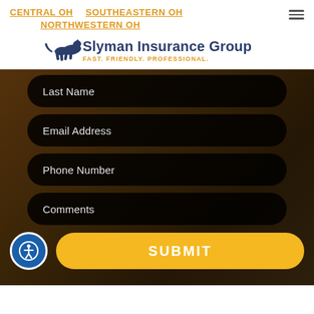CENTRAL OH   SOUTHEASTERN OH   NORTHWESTERN OH
[Figure (logo): Slyman Insurance Group logo with running cat silhouette and tagline FAST. FRIENDLY. PROFESSIONAL.]
Last Name
Email Address
Phone Number
Comments
SUBMIT